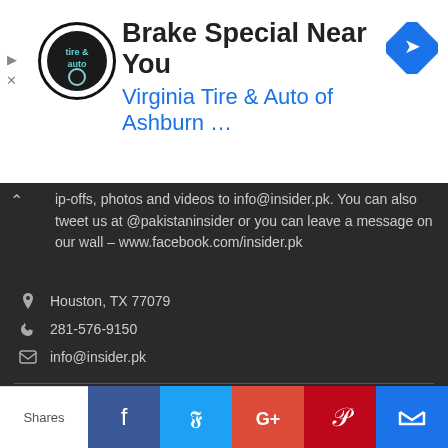[Figure (screenshot): Advertisement banner for Virginia Tire & Auto of Ashburn with logo and navigation icon]
ip-offs, photos and videos to info@insider.pk. You can also tweet us at @pakistaninsider or you can leave a message on our wall – www.facebook.com/insider.pk
Houston, TX 77079
281-576-9150
info@insider.pk
POPULAR POSTS
March 25, 2011
Pakistan the Beautiful: Photos
May 29, 2011